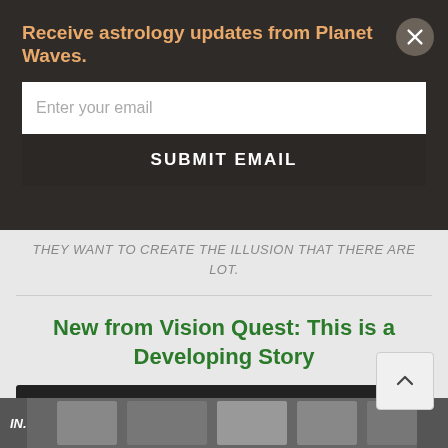Receive astrology updates from Planet Waves.
Enter your email
SUBMIT EMAIL
THEY WANT TO CREATE THE ILLUSION THAT THERE ARE LOT.
New from Vision Quest: This is a Developing Story
[Figure (other): Audio player with play button, time display 00:00, progress bar, and end time 00:00]
[Figure (photo): Bottom partial image showing people, black and white photo strip]